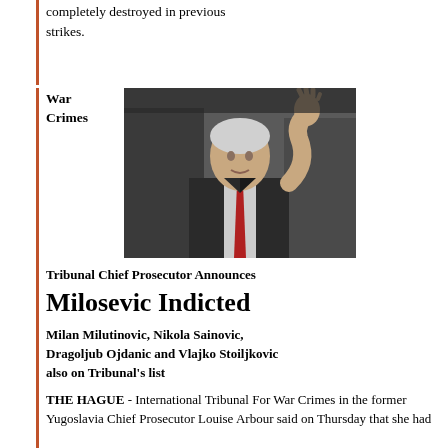completely destroyed in previous strikes.
War Crimes
[Figure (photo): Black and white photograph of Slobodan Milosevic waving, wearing a dark suit and red tie]
Tribunal Chief Prosecutor Announces
Milosevic Indicted
Milan Milutinovic, Nikola Sainovic, Dragoljub Ojdanic and Vlajko Stoiljkovic also on Tribunal's list
THE HAGUE - International Tribunal For War Crimes in the former Yugoslavia Chief Prosecutor Louise Arbour said on Thursday that she had